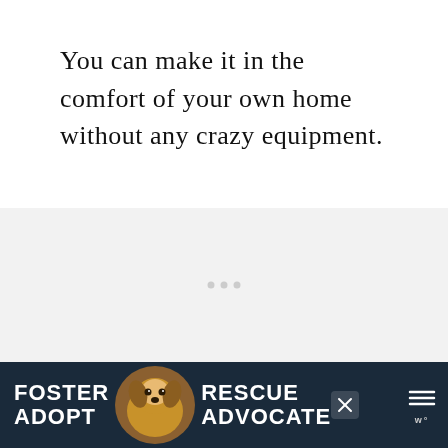You can make it in the comfort of your own home without any crazy equipment.
[Figure (screenshot): Light gray content placeholder area with three gray dots in the center indicating loading content]
[Figure (screenshot): UI overlay buttons: orange like count 241, white circle heart button, orange circle search button, blue circle heart button, white circle share button]
[Figure (infographic): Bottom advertisement banner with dark navy background showing 'FOSTER ADOPT' text, a beagle dog photo, 'RESCUE ADVOCATE' text with a close X button and a logo on the right]